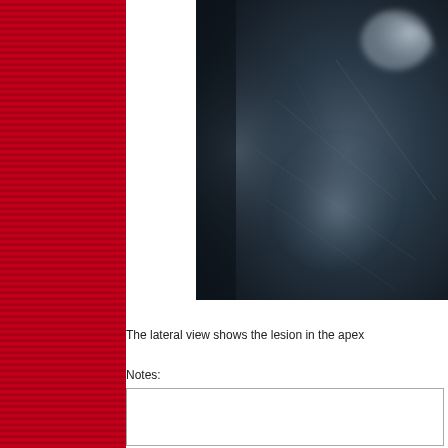[Figure (photo): Lateral chest X-ray showing a lesion in the apex of the lung. The image is a close-up radiograph with dark lung fields and a visible opacity or mass in the upper region.]
The lateral view shows the lesion in the apex
Notes: